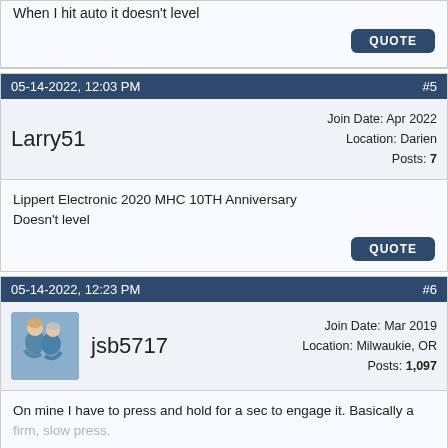When I hit auto it doesn't level
05-14-2022, 12:03 PM   #5
Larry51
Join Date: Apr 2022
Location: Darien
Posts: 7
Lippert Electronic 2020 MHC 10TH Anniversary
Doesn't level
05-14-2022, 12:23 PM   #6
jsb5717
Join Date: Mar 2019
Location: Milwaukie, OR
Posts: 1,097
On mine I have to press and hold for a sec to engage it. Basically a firm, slow press.
If it's persistent then I would call Lippert directly. They're very helpful.